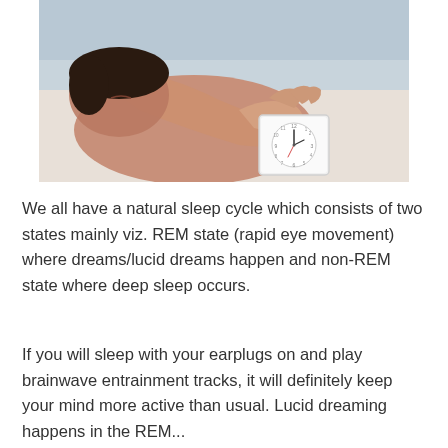[Figure (photo): A person lying in bed reaching toward a small white alarm clock, with their hand extended and head resting on a pillow in the background.]
We all have a natural sleep cycle which consists of two states mainly viz. REM state (rapid eye movement) where dreams/lucid dreams happen and non-REM state where deep sleep occurs.
If you will sleep with your earplugs on and play brainwave entrainment tracks, it will definitely keep your mind more active than usual. Lucid dreaming happens in the REM...